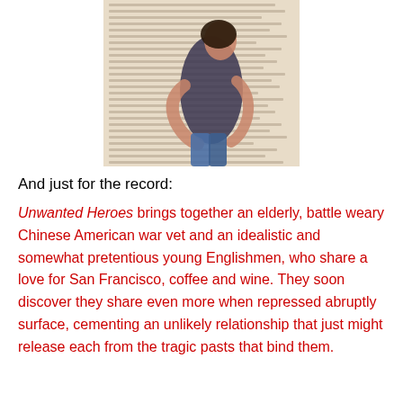[Figure (photo): A woman hugging a large book or wall covered in handwritten text, viewed from behind, wearing a dark shirt and jeans, smiling over her shoulder.]
And just for the record:
Unwanted Heroes brings together an elderly, battle weary Chinese American war vet and an idealistic and somewhat pretentious young Englishmen, who share a love for San Francisco, coffee and wine. They soon discover they share even more when repressed abruptly surface, cementing an unlikely relationship that just might release each from the tragic pasts that bind them.